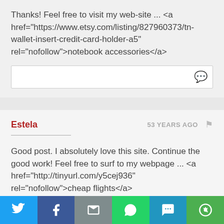Thanks! Feel free to visit my web-site ... <a href="https://www.etsy.com/listing/827960373/tn-wallet-insert-credit-card-holder-a5" rel="nofollow">notebook accessories</a>
Estela   53 YEARS AGO
Good post. I absolutely love this site. Continue the good work! Feel free to surf to my webpage ... <a href="http://tinyurl.com/y5cej936" rel="nofollow">cheap flights</a>
[Figure (infographic): Social sharing bar with Twitter, Facebook, Email, WhatsApp, SMS, and More buttons]